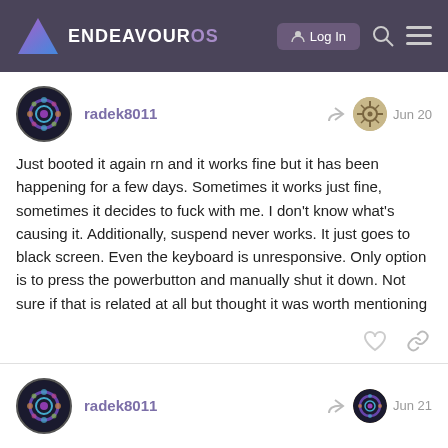ENDEAVOUROS — Log In
radek8011 — Jun 20
Just booted it again rn and it works fine but it has been happening for a few days. Sometimes it works just fine, sometimes it decides to fuck with me. I don't know what's causing it. Additionally, suspend never works. It just goes to black screen. Even the keyboard is unresponsive. Only option is to press the powerbutton and manually shut it down. Not sure if that is related at all but thought it was worth mentioning
radek8011 — Jun 21
I booted it again now and the lag is back, i infuriating and I have no idea why it is hap